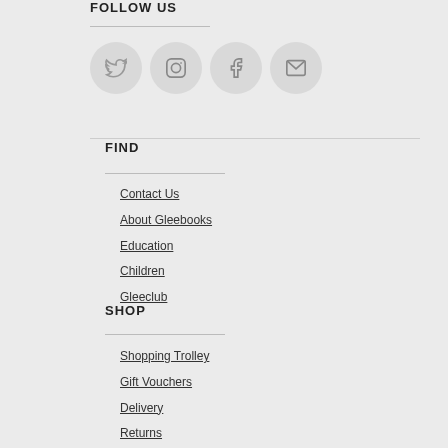FOLLOW US
[Figure (other): Four social media icon circles: Twitter, Instagram, Facebook, Email]
FIND
Contact Us
About Gleebooks
Education
Children
Gleeclub
SHOP
Shopping Trolley
Gift Vouchers
Delivery
Returns
Terms and Conditions